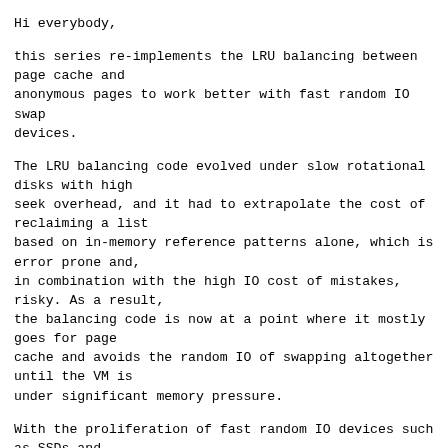Hi everybody,
this series re-implements the LRU balancing between page cache and
anonymous pages to work better with fast random IO swap
devices.
The LRU balancing code evolved under slow rotational disks with high
seek overhead, and it had to extrapolate the cost of reclaiming a list
based on in-memory reference patterns alone, which is error prone and,
in combination with the high IO cost of mistakes, risky. As a result,
the balancing code is now at a point where it mostly goes for page
cache and avoids the random IO of swapping altogether until the VM is
under significant memory pressure.
With the proliferation of fast random IO devices such as SSDs and
persistent memory, though, swap becomes interesting again, not just as
a last-resort overflow, but as an extension of memory that can be used
to optimize the in-memory balance between the page cache and the
anonymous workingset even during moderate load. Our